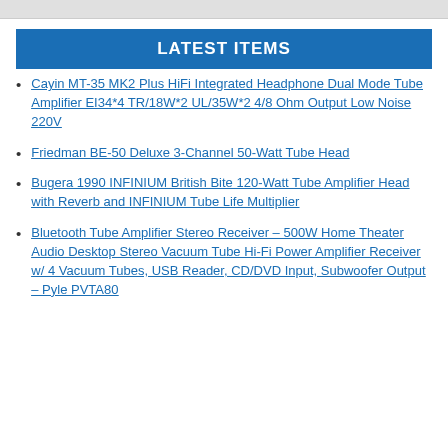LATEST ITEMS
Cayin MT-35 MK2 Plus HiFi Integrated Headphone Dual Mode Tube Amplifier EI34*4 TR/18W*2 UL/35W*2 4/8 Ohm Output Low Noise 220V
Friedman BE-50 Deluxe 3-Channel 50-Watt Tube Head
Bugera 1990 INFINIUM British Bite 120-Watt Tube Amplifier Head with Reverb and INFINIUM Tube Life Multiplier
Bluetooth Tube Amplifier Stereo Receiver – 500W Home Theater Audio Desktop Stereo Vacuum Tube Hi-Fi Power Amplifier Receiver w/ 4 Vacuum Tubes, USB Reader, CD/DVD Input, Subwoofer Output – Pyle PVTA80